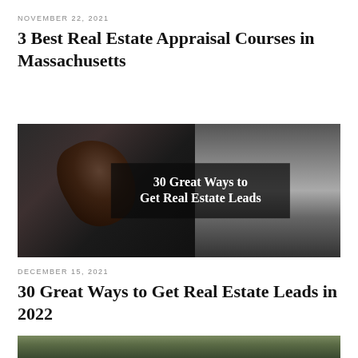NOVEMBER 22, 2021
3 Best Real Estate Appraisal Courses in Massachusetts
[Figure (photo): Dark background image of a handshake with overlay text '30 Great Ways to Get Real Estate Leads']
DECEMBER 15, 2021
30 Great Ways to Get Real Estate Leads in 2022
[Figure (photo): Partial bottom image, appears to show outdoor/real estate scene in green tones]